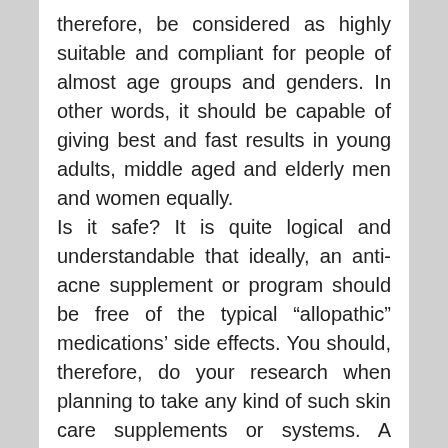therefore, be considered as highly suitable and compliant for people of almost age groups and genders. In other words, it should be capable of giving best and fast results in young adults, middle aged and elderly men and women equally. Is it safe? It is quite logical and understandable that ideally, an anti-acne supplement or program should be free of the typical “allopathic” medications’ side effects. You should, therefore, do your research when planning to take any kind of such skin care supplements or systems. A simple of way of doing this is read the authentic testimonials, and see if the product has been approved by some major international and credible